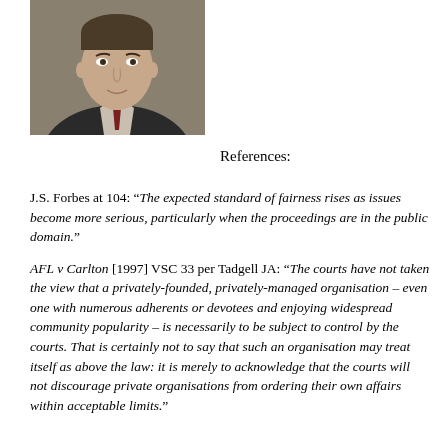[Figure (photo): Headshot portrait of a man in a dark suit and tie against a neutral background]
References:
J.S. Forbes at 104: “The expected standard of fairness rises as issues become more serious, particularly when the proceedings are in the public domain.”
AFL v Carlton [1997] VSC 33 per Tadgell JA: “The courts have not taken the view that a privately-founded, privately-managed organisation – even one with numerous adherents or devotees and enjoying widespread community popularity – is necessarily to be subject to control by the courts. That is certainly not to say that such an organisation may treat itself as above the law: it is merely to acknowledge that the courts will not discourage private organisations from ordering their own affairs within acceptable limits.”